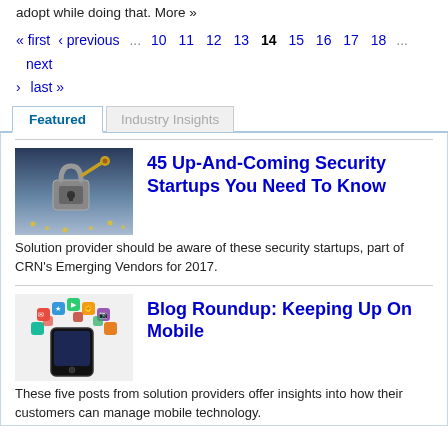adopt while doing that. More »
« first  ‹ previous  … 10 11 12 13 14 15 16 17 18 … next › last »
Featured | Industry Insights
[Figure (photo): Padlock with a key on a digital grid background]
45 Up-And-Coming Security Startups You Need To Know
Solution provider should be aware of these security startups, part of CRN's Emerging Vendors for 2017.
[Figure (photo): Smartphone with colorful app icons floating above it]
Blog Roundup: Keeping Up On Mobile
These five posts from solution providers offer insights into how their customers can manage mobile technology.